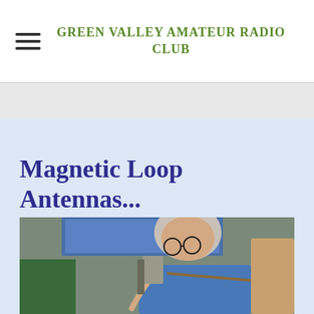GREEN VALLEY AMATEUR RADIO CLUB
Magnetic Loop Antennas...
[Figure (photo): An elderly person with gray hair and glasses, wearing a blue shirt, examining or working on an antenna or radio equipment. A blue screen or monitor is visible in the background. The image appears to be from a club presentation or demonstration.]